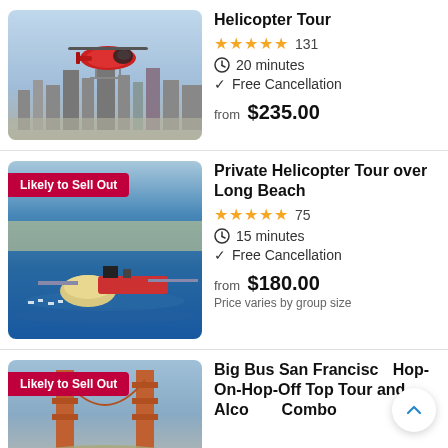Helicopter Tour
★★★★★ 131
20 minutes
Free Cancellation
from $235.00
[Figure (photo): Red helicopter flying over San Francisco city skyline]
Private Helicopter Tour over Long Beach
★★★★★ 75
15 minutes
Free Cancellation
from $180.00
Price varies by group size
[Figure (photo): Aerial view of Long Beach harbor with ships and dome building; badge: Likely to Sell Out]
Big Bus San Francisco Hop-On-Hop-Off Top Tour and Alco Combo
[Figure (photo): Golden Gate Bridge towers from below; badge: Likely to Sell Out]